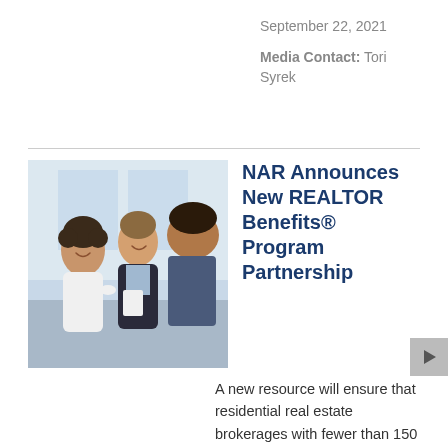September 22, 2021
Media Contact: Tori Syrek
[Figure (photo): Two women and a man in a professional meeting, smiling and engaged in conversation in an office setting.]
NAR Announces New REALTOR Benefits® Program Partnership
A new resource will ensure that residential real estate brokerages with fewer than 150 agents are able to provide the kind of service and support to their agents typically offered by